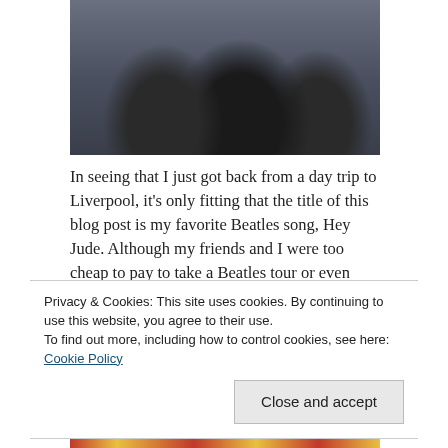[Figure (photo): Photo of three people standing outdoors, wearing winter jackets and scarves.]
In seeing that I just got back from a day trip to Liverpool, it's only fitting that the title of this blog post is my favorite Beatles song, Hey Jude. Although my friends and I were too cheap to pay to take a Beatles tour or even visit the Beatles museum, Liverpool is still their birth place....so I basically had to title it as such anyways.
[Figure (photo): Photo showing colorful artwork or display with a red banner, partially visible.]
Privacy & Cookies: This site uses cookies. By continuing to use this website, you agree to their use.
To find out more, including how to control cookies, see here: Cookie Policy